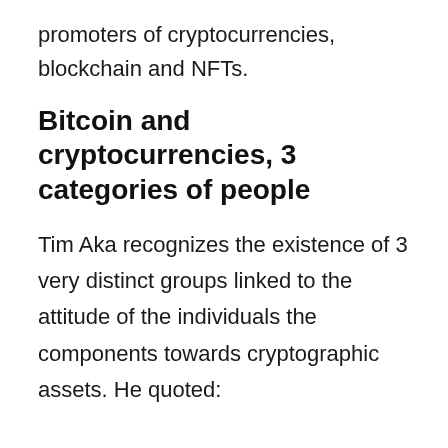promoters of cryptocurrencies, blockchain and NFTs.
Bitcoin and cryptocurrencies, 3 categories of people
Tim Aka recognizes the existence of 3 very distinct groups linked to the attitude of the individuals the components towards cryptographic assets. He quoted: